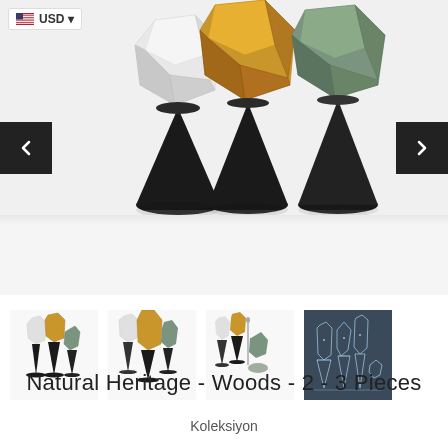[Figure (photo): Three geometric decorative figurines on black cone bases: white faceted top, mustard/yellow faceted top, and sage green faceted top, on a light gray background with navigation arrows on sides and USD currency selector badge in top-left corner]
[Figure (photo): Four thumbnail images showing different views and sets of the Natural Heritage Woods figurines collection, including a technical blueprint drawing]
Natural Heritage - Woods - 2 - 3 Pieces
Koleksiyon